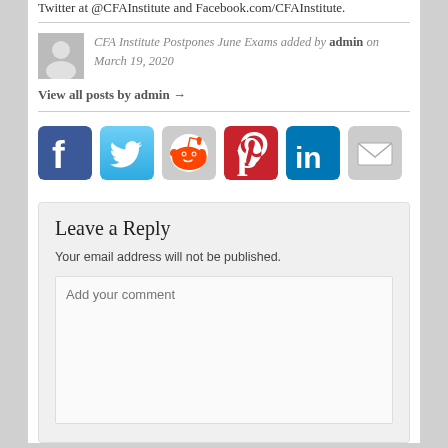Twitter at @CFAInstitute and Facebook.com/CFAInstitute.
CFA Institute Postpones June Exams added by admin on March 19, 2020
View all posts by admin →
[Figure (logo): Social media share buttons: Facebook, Twitter, Reddit, Pinterest, LinkedIn, Email]
Leave a Reply
Your email address will not be published.
Add your comment